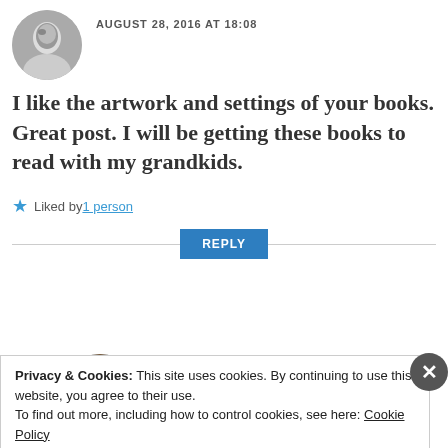AUGUST 28, 2016 AT 18:08
I like the artwork and settings of your books. Great post. I will be getting these books to read with my grandkids.
Liked by 1 person
REPLY
marethabotha2013
Privacy & Cookies: This site uses cookies. By continuing to use this website, you agree to their use.
To find out more, including how to control cookies, see here: Cookie Policy
Close and accept